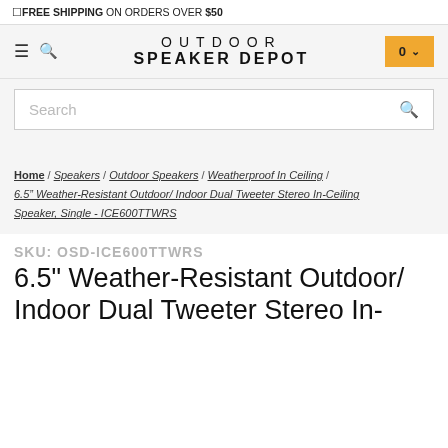🎁FREE SHIPPING ON ORDERS OVER $50
[Figure (logo): Outdoor Speaker Depot logo with hamburger menu, search icon, and cart button showing 0 items]
Search
Home / Speakers / Outdoor Speakers / Weatherproof In Ceiling / 6.5" Weather-Resistant Outdoor/ Indoor Dual Tweeter Stereo In-Ceiling Speaker, Single - ICE600TTWRS
SKU: OSD-ICE600TTWRS
6.5" Weather-Resistant Outdoor/ Indoor Dual Tweeter Stereo In-